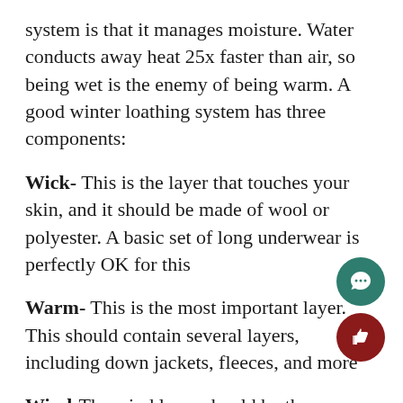system is that it manages moisture. Water conducts away heat 25x faster than air, so being wet is the enemy of being warm. A good winter loathing system has three components:
Wick- This is the layer that touches your skin, and it should be made of wool or polyester. A basic set of long underwear is perfectly OK for this
Warm- This is the most important layer. This should contain several layers, including down jackets, fleeces, and more
Wind-The wind layer should be the outermost layer of clothing and should be made of waterproof/breathable fabric such as Gore-Tex. This can be a raincoat or a ski coat with a shell layer.
A few other things you can do to...